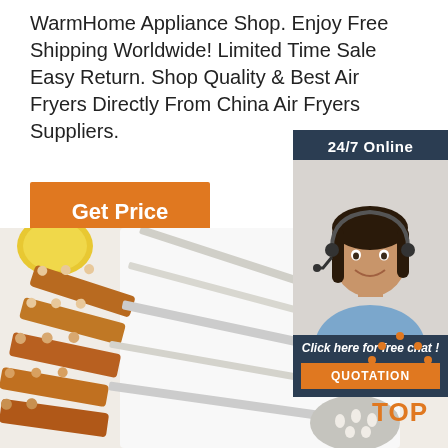WarmHome Appliance Shop. Enjoy Free Shipping Worldwide! Limited Time Sale Easy Return. Shop Quality & Best Air Fryers Directly From China Air Fryers Suppliers.
Get Price
[Figure (photo): Customer service agent: woman with headset smiling, 24/7 Online banner, dark blue sidebar with 'Click here for free chat!' and orange QUOTATION button]
[Figure (photo): Kitchen utensils with wooden handles (spatulas, ladles, spoons) laid out on a white surface with a lemon visible at top left, and a TOP badge in orange at bottom right]